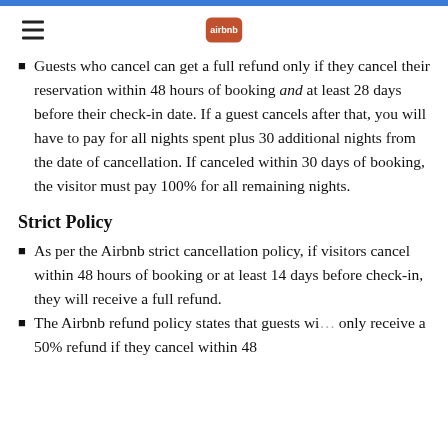Airbnb logo and navigation
Guests who cancel can get a full refund only if they cancel their reservation within 48 hours of booking and at least 28 days before their check-in date. If a guest cancels after that, you will have to pay for all nights spent plus 30 additional nights from the date of cancellation. If canceled within 30 days of booking, the visitor must pay 100% for all remaining nights.
Strict Policy
As per the Airbnb strict cancellation policy, if visitors cancel within 48 hours of booking or at least 14 days before check-in, they will receive a full refund.
The Airbnb refund policy states that guests will only receive a 50% refund if they cancel within 48